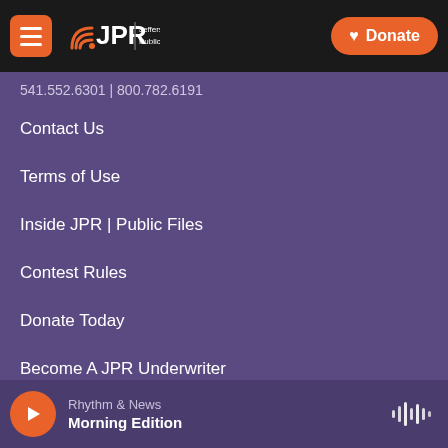JPR Jefferson Public Radio | Donate
541.552.6301 | 800.782.6191
Contact Us
Terms of Use
Inside JPR | Public Files
Contest Rules
Donate Today
Become A JPR Underwriter
Donate Your Vehicle
Bequests & Planned Gifts
Rhythm & News — Morning Edition